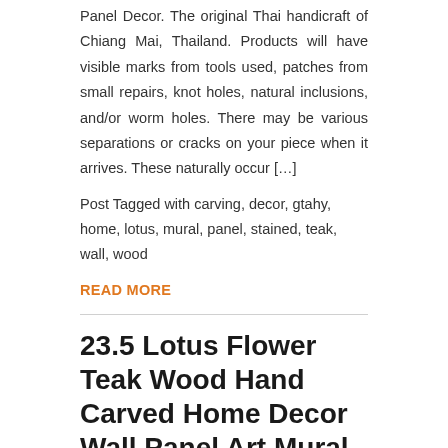Panel Decor. The original Thai handicraft of Chiang Mai, Thailand. Products will have visible marks from tools used, patches from small repairs, knot holes, natural inclusions, and/or worm holes. There may be various separations or cracks on your piece when it arrives. These naturally occur […]
Post Tagged with carving, decor, gtahy, home, lotus, mural, panel, stained, teak, wall, wood
READ MORE
23.5 Lotus Flower Teak Wood Hand Carved Home Decor Wall Panel Art Mural 3 gtahy
May 6, 2018   lotus   admin   Comments Off
[Figure (photo): Teak wood hand carved lotus flower wall panel art mural, dark brown wood with intricate carved floral and scroll patterns, shown inside a blue-bordered thumbnail frame]